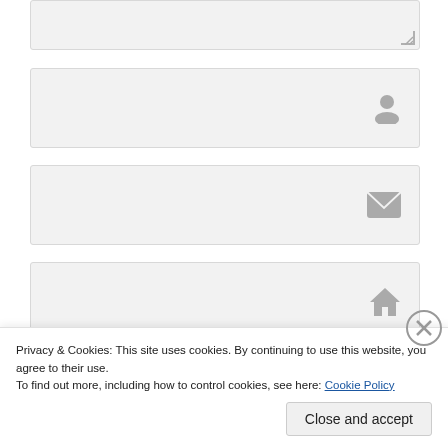[Figure (screenshot): Partially visible textarea input field with resize handle at bottom right]
[Figure (screenshot): Text input field with a person/user icon on the right]
[Figure (screenshot): Text input field with an email envelope icon on the right]
[Figure (screenshot): Text input field with a home icon on the right]
[Figure (screenshot): Dark navy 'Post Comment' button]
Privacy & Cookies: This site uses cookies. By continuing to use this website, you agree to their use.
To find out more, including how to control cookies, see here: Cookie Policy
[Figure (screenshot): Close (X) button circle for cookie banner]
[Figure (screenshot): 'Close and accept' button for cookie banner]
[Figure (screenshot): Bottom colored bar stripe (red, dark, orange segments)]